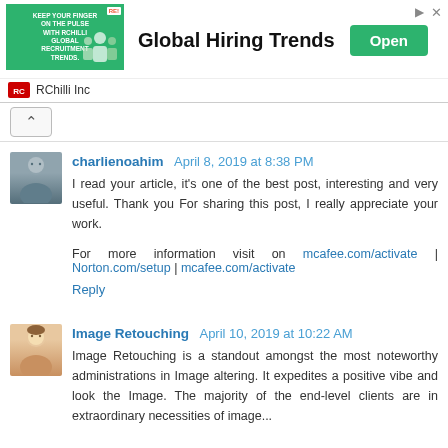[Figure (screenshot): Advertisement banner for RChilli Inc - Global Hiring Trends with green Open button]
charlienoahim April 8, 2019 at 8:38 PM
I read your article, it's one of the best post, interesting and very useful. Thank you For sharing this post, I really appreciate your work.
For more information visit on mcafee.com/activate | Norton.com/setup | mcafee.com/activate
Reply
Image Retouching April 10, 2019 at 10:22 AM
Image Retouching is a standout amongst the most noteworthy administrations in Image altering. It expedites a positive vibe and look the Image. The majority of the end-level clients are in extraordinary necessities of image...